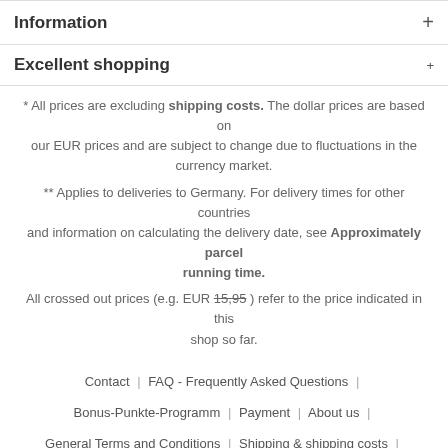Information +
Excellent shopping +
* All prices are excluding shipping costs. The dollar prices are based on our EUR prices and are subject to change due to fluctuations in the currency market.
** Applies to deliveries to Germany. For delivery times for other countries and information on calculating the delivery date, see Approximately parcel running time.
All crossed out prices (e.g. EUR 15,95 ) refer to the price indicated in this shop so far.
Contact | FAQ - Frequently Asked Questions |
Bonus-Punkte-Programm | Payment | About us |
General Terms and Conditions | Shipping & shipping costs |
How to order? | Newsletter | Privacy / Data Protection |